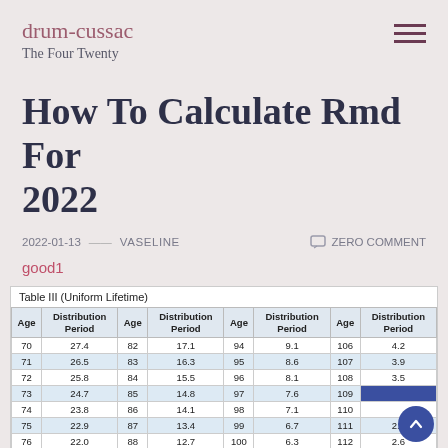drum-cussac
The Four Twenty
How To Calculate Rmd For 2022
2022-01-13 — VASELINE   ZERO COMMENT
good1
Table III (Uniform Lifetime)
| Age | Distribution Period | Age | Distribution Period | Age | Distribution Period | Age | Distribution Period |
| --- | --- | --- | --- | --- | --- | --- | --- |
| 70 | 27.4 | 82 | 17.1 | 94 | 9.1 | 106 | 4.2 |
| 71 | 26.5 | 83 | 16.3 | 95 | 8.6 | 107 | 3.9 |
| 72 | 25.8 | 84 | 15.5 | 96 | 8.1 | 108 | 3.5 |
| 73 | 24.7 | 85 | 14.8 | 97 | 7.6 | 109 | — |
| 74 | 23.8 | 86 | 14.1 | 98 | 7.1 | 110 | — |
| 75 | 22.9 | 87 | 13.4 | 99 | 6.7 | 111 | 2.9 |
| 76 | 22.0 | 88 | 12.7 | 100 | 6.3 | 112 | 2.6 |
| 77 | 21.2 | 89 | 12.0 | 101 | 5.9 | 113 | 2.4 |
| 78 | 20.3 | 90 | 11.4 | 102 | 5.5 | 114 | 2.1 |